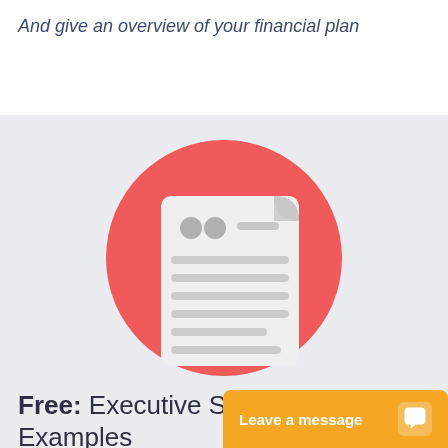And give an overview of your financial plan
[Figure (illustration): Red circle with a document/scroll icon in the center, shown on a light gray background. The document has two circular icons at the top left and horizontal lines representing text content.]
Free: Executive Summary Examples
An executive sum...
Leave a message